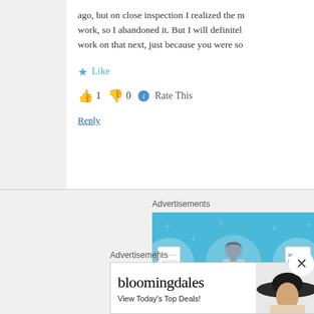ago, but on close inspection I realized the m work, so I abandoned it. But I will definitel work on that next, just because you were so
Like
👍 1 👎 0 ℹ Rate This
Reply
Advertisements
[Figure (illustration): Blue advertisement banner with illustrated icons in circles showing a notebook, a person, and a checklist, with sparkle/star decorations on a light blue background]
Advertisements
[Figure (illustration): Bloomingdale's advertisement banner showing logo, 'View Today's Top Deals!' text, woman wearing large hat, and 'SHOP NOW >' call to action button]